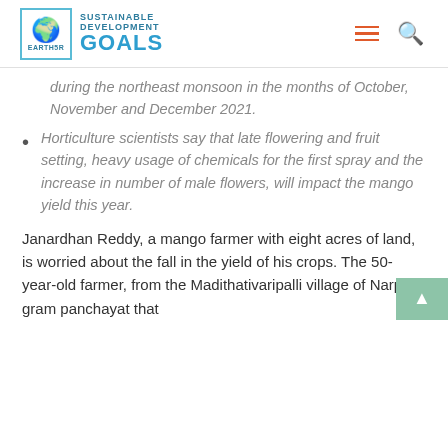EARTH5R – SUSTAINABLE DEVELOPMENT GOALS
during the northeast monsoon in the months of October, November and December 2021.
Horticulture scientists say that late flowering and fruit setting, heavy usage of chemicals for the first spray and the increase in number of male flowers, will impact the mango yield this year.
Janardhan Reddy, a mango farmer with eight acres of land, is worried about the fall in the yield of his crops. The 50-year-old farmer, from the Madithativaripalli village of Narphilu gram panchayat that